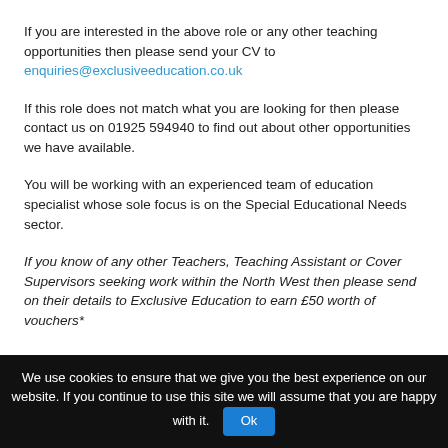If you are interested in the above role or any other teaching opportunities then please send your CV to enquiries@exclusiveeducation.co.uk
If this role does not match what you are looking for then please contact us on 01925 594940 to find out about other opportunities we have available.
You will be working with an experienced team of education specialist whose sole focus is on the Special Educational Needs sector.
If you know of any other Teachers, Teaching Assistant or Cover Supervisors seeking work within the North West then please send on their details to Exclusive Education to earn £50 worth of vouchers*
We use cookies to ensure that we give you the best experience on our website. If you continue to use this site we will assume that you are happy with it. Ok